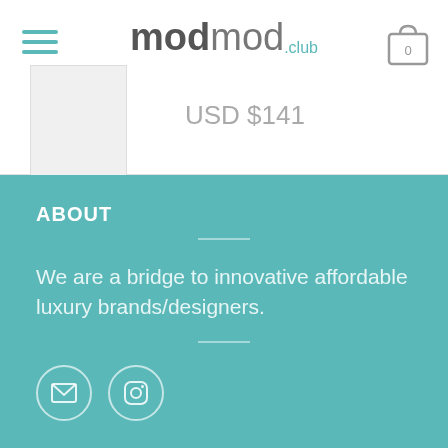modmod.club — navigation header with hamburger menu, logo, cart icon, and price USD $141
ABOUT
We are a bridge to innovative affordable luxury brands/designers.
[Figure (illustration): Email icon in circle and Instagram icon in circle on teal background]
SHOP OUR CATEGORIES
ACCESSORIES